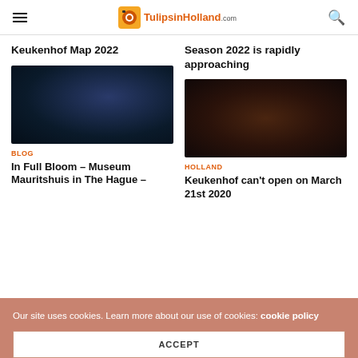TulipsinHolland.com
Keukenhof Map 2022
Season 2022 is rapidly approaching
[Figure (photo): Dark blurred photo, left article image]
[Figure (photo): Dark blurred photo with reddish tones, right article image]
BLOG
HOLLAND
In Full Bloom – Museum Mauritshuis in The Hague –
Keukenhof can't open on March 21st 2020
Our site uses cookies. Learn more about our use of cookies: cookie policy
ACCEPT